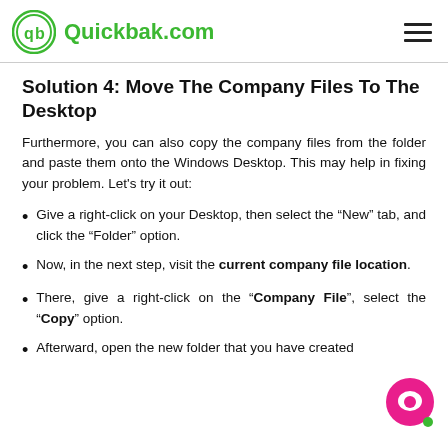Quickbak.com
Solution 4: Move The Company Files To The Desktop
Furthermore, you can also copy the company files from the folder and paste them onto the Windows Desktop. This may help in fixing your problem. Let's try it out:
Give a right-click on your Desktop, then select the “New” tab, and click the “Folder” option.
Now, in the next step, visit the current company file location.
There, give a right-click on the “Company File”, select the “Copy” option.
Afterward, open the new folder that you have created